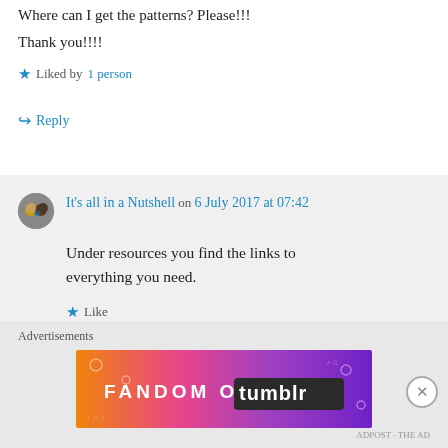Where can I get the patterns? Please!!! Thank you!!!!
★ Liked by 1 person
↪ Reply
It's all in a Nutshell on 6 July 2017 at 07:42
Under resources you find the links to everything you need.
★ Like
↪ Reply
Advertisements
[Figure (other): Fandom on Tumblr advertisement banner with colorful gradient background (orange, pink, purple) and white illustrated icons]